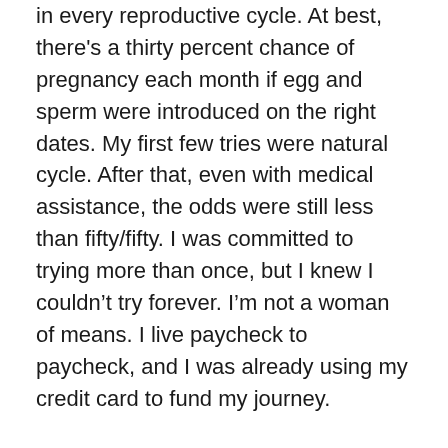in every reproductive cycle. At best, there's a thirty percent chance of pregnancy each month if egg and sperm were introduced on the right dates. My first few tries were natural cycle. After that, even with medical assistance, the odds were still less than fifty/fifty. I was committed to trying more than once, but I knew I couldn't try forever. I'm not a woman of means. I live paycheck to paycheck, and I was already using my credit card to fund my journey.
I've read countless stories about the journey through infertility. I've read about the emotional turmoil, the despair. That, I thought, would never be me. I knew the numbers and, if it never happened, I would be okay with that. It wasn't going to hurt. Except for the battering to my wallet, the journey of trying to get pregnant wasn't going to hurt.
At first, that's how I was...